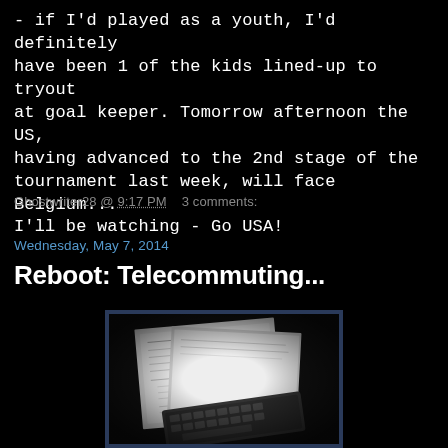- if I'd played as a youth, I'd definitely have been 1 of the kids lined-up to tryout at goal keeper. Tomorrow afternoon the US, having advanced to the 2nd stage of the tournament last week, will face Belgium... I'll be watching - Go USA!
Ghostwriter28 @ 9:17 PM   3 comments:
Wednesday, May 7, 2014
Reboot: Telecommuting...
[Figure (photo): Photo of printed documents and a keyboard on a dark background]